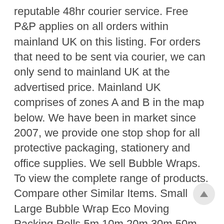reputable 48hr courier service. Free P&P applies on all orders within mainland UK on this listing. For orders that need to be sent via courier, we can only send to mainland UK at the advertised price. Mainland UK comprises of zones A and B in the map below. We have been in market since 2007, we provide one stop shop for all protective packaging, stationery and office supplies. We sell Bubble Wraps. To view the complete range of products. Compare other Similar Items. Small Large Bubble Wrap Eco Moving Packing Rolls 5m 10m 20m 30m 50m 100m METRE. Packing Parcel Tapr Brown Clear Fragile Duct Masking Gummed Paper Tape Roll 66m. WHITE & GOLD Padded Envelopes Jiffy Airkraft Bubble Postal Lite Bags – ALL SIZES. Blue Centre Feed Roll 2ply Embossed Kitchen Paper Towel Cleaning Rolls. Plastic Food Containers Microwave Freezer Safe Storage Takeaway Boxes. POLYTHENE Poly Plastic Sofa Chair Mattress Storage Protector Furniture Cover Bag. FOAM EDGE Protector CORNER GUARD Long Parcel Furniture Strip Profile Packing. LARGE Black